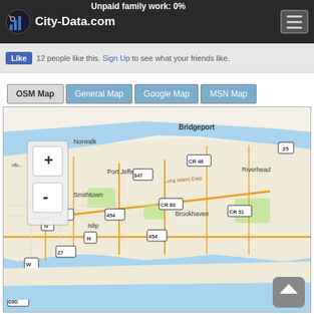City-Data.com
Unpaid family work: 0%
12 people like this. Sign Up to see what your friends like.
[Figure (map): OpenStreetMap of Long Island, New York showing Bridgeport, Norwalk, Port Jefferson, Smithtown, Islip, Brookhaven, Riverhead and major roads including Long Island Expy, routes 231, 454, 347, 27, 25, CR 46, CR 83, CR 51, 909D. Map includes zoom +/- controls in upper left corner.]